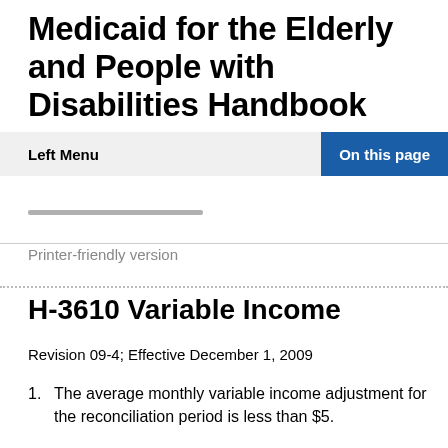Medicaid for the Elderly and People with Disabilities Handbook
Left Menu
On this page
Printer-friendly version
H-3610 Variable Income
Revision 09-4; Effective December 1, 2009
The average monthly variable income adjustment for the reconciliation period is less than $5.